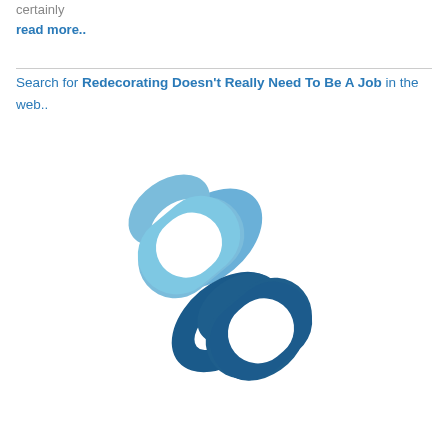certainly
read more..
Search for Redecorating Doesn't Really Need To Be A Job in the web..
[Figure (illustration): A chain link icon composed of two interlocking oval chain links, rendered in light blue and dark blue colors on a white background.]